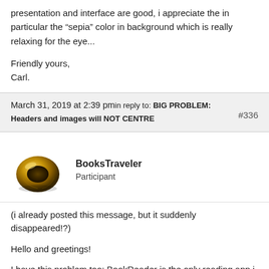presentation and interface are good, i appreciate the in particular the “sepia” color in background which is really relaxing for the eye...
Friendly yours,
Carl.
March 31, 2019 at 2:39 pmin reply to: BIG PROBLEM: Headers and images will NOT CENTRE #336
[Figure (photo): Gold ring avatar for user BooksTraveler]
BooksTraveler
Participant
(i already posted this message, but it suddenly disappeared!?)
Hello and greetings!
I have this problem too: BookReader is the only reading app i know which doesn’t respect the “center” html command.
I edited my own epub with Sigil and tried:
1°)